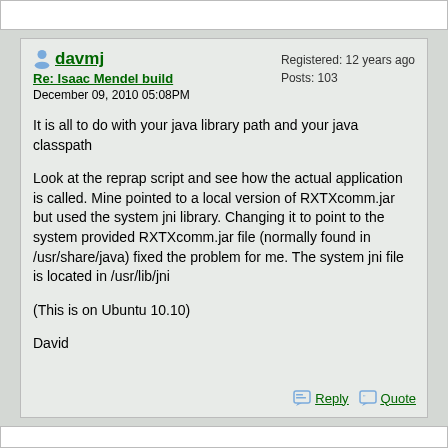davmj
Re: Isaac Mendel build
December 09, 2010 05:08PM
Registered: 12 years ago
Posts: 103
It is all to do with your java library path and your java classpath
Look at the reprap script and see how the actual application is called. Mine pointed to a local version of RXTXcomm.jar but used the system jni library. Changing it to point to the system provided RXTXcomm.jar file (normally found in /usr/share/java) fixed the problem for me. The system jni file is located in /usr/lib/jni
(This is on Ubuntu 10.10)
David